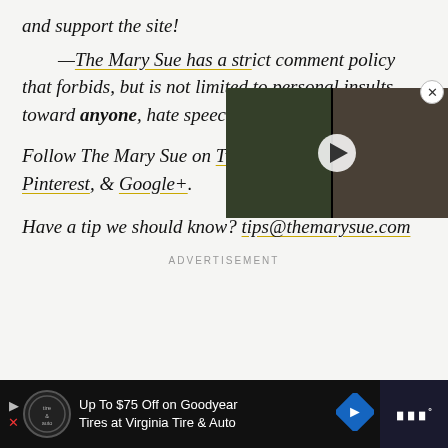and support the site!
—The Mary Sue has a strict comment policy that forbids, but is not limited to, personal insults toward anyone, hate speech...
[Figure (screenshot): Video player overlay showing two people, with a play button and close X button]
Follow The Mary Sue on Twitter, Facebook, Tumblr, Pinterest, & Google+.
Have a tip we should know? tips@themarysue.com
ADVERTISEMENT
[Figure (other): Bottom advertisement bar: Up To $75 Off on Goodyear Tires at Virginia Tire & Auto with logo and navigation arrow icons]